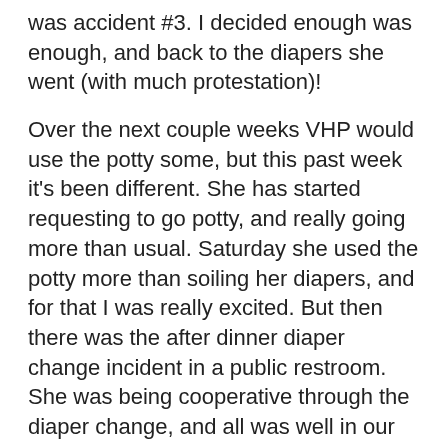was accident #3. I decided enough was enough, and back to the diapers she went (with much protestation)!
Over the next couple weeks VHP would use the potty some, but this past week it's been different. She has started requesting to go potty, and really going more than usual. Saturday she used the potty more than soiling her diapers, and for that I was really excited. But then there was the after dinner diaper change incident in a public restroom. She was being cooperative through the diaper change, and all was well in our world. Then I asked if she needs to go potty, which is the normal diaper change question lately, and her response was yes. I'm getting ready to grab her and take her potty when I notice the changing pad is getting wet. She smiles. I tell her we don't pee on the change on the changing table, to